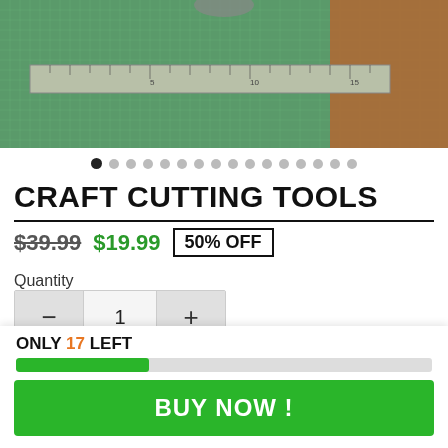[Figure (photo): Photo of craft cutting tools including a metal ruler on a green cutting mat, and an orange cutting tool]
CRAFT CUTTING TOOLS
$39.99  $19.99  50% OFF
Quantity
1
Color
White
ONLY 17 LEFT
BUY NOW !